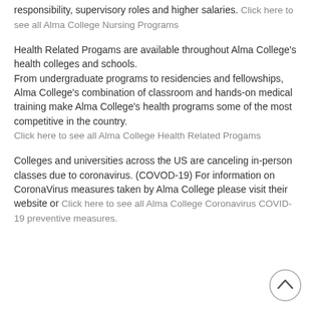responsibility, supervisory roles and higher salaries. Click here to see all Alma College Nursing Programs
Health Related Progams are available throughout Alma College's health colleges and schools. From undergraduate programs to residencies and fellowships, Alma College's combination of classroom and hands-on medical training make Alma College's health programs some of the most competitive in the country. Click here to see all Alma College Health Related Progams
Colleges and universities across the US are canceling in-person classes due to coronavirus. (COVOD-19) For information on CoronaVirus measures taken by Alma College please visit their website or Click here to see all Alma College Coronavirus COVID-19 preventive measures.